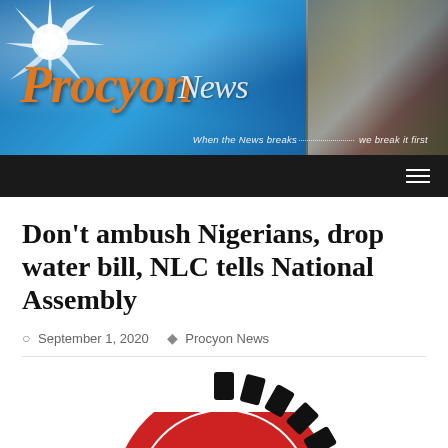[Figure (illustration): Procyon News website header banner with blue gradient background, starburst/star graphic top-left, orange italic 'Procyon' logo text, white script 'News' text, right-side collage of people and artifacts, tagline 'When the News breaks ... we break it first']
Procyon News — When the News breaks ... we break it first
Don’t ambush Nigerians, drop water bill, NLC tells National Assembly
September 1, 2020   Procyon News
[Figure (illustration): Partial view of NLC (Nigeria Labour Congress) logo — a red semicircle with black gear/cog teeth around the top arc, on white background]